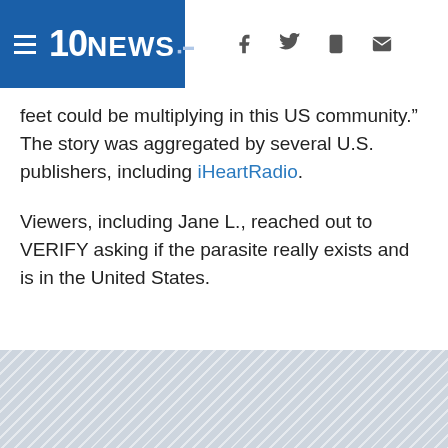10NEWS (NBC logo) — navigation header with hamburger menu, Facebook, Twitter, mobile, and email icons
feet could be multiplying in this US community.” The story was aggregated by several U.S. publishers, including iHeartRadio.
Viewers, including Jane L., reached out to VERIFY asking if the parasite really exists and is in the United States.